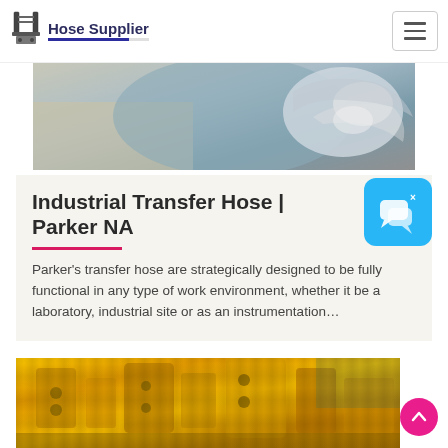Hose Supplier
[Figure (photo): Close-up photo of shiny metallic car headlight and body panel]
Industrial Transfer Hose | Parker NA
Parker's transfer hose are strategically designed to be fully functional in any type of work environment, whether it be a laboratory, industrial site or as an instrumentation...
[Figure (photo): Close-up photo of yellow industrial machinery/hydraulic equipment]